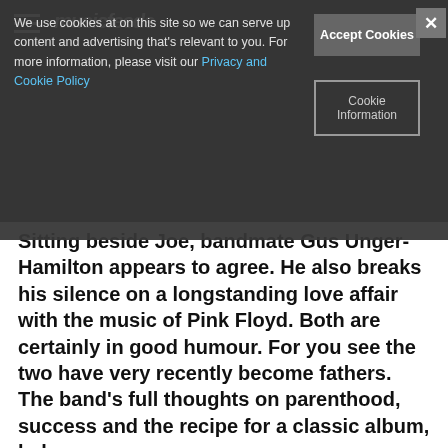musicfeeds
We use cookies at on this site so we can serve up content and advertising that's relevant to you. For more information, please visit our Privacy and Cookie Policy
Accept Cookies
Cookie Information
Sitting beside Joe, bandmate Gus Unger-Hamilton appears to agree. He also breaks his silence on a longstanding love affair with the music of Pink Floyd. Both are certainly in good humour. For you see the two have very recently become fathers. The band's full thoughts on parenthood, success and the recipe for a classic album, below.
[Figure (photo): Embedded image placeholder (grey rectangle)]